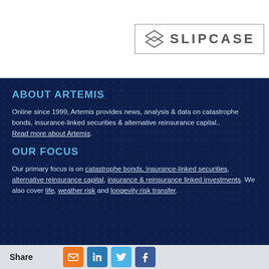[Figure (logo): Slipcase logo with diamond/layers icon and SLIPCASE text in a bordered box]
ABOUT ARTEMIS
Online since 1999, Artemis provides news, analysis & data on catastrophe bonds, insurance-linked securities & alternative reinsurance capital.. Read more about Artemis.
OUR FOCUS
Our primary focus is on catastrophe bonds, insurance-linked securities, alternative reinsurance capital, insurance & reinsurance linked investments. We also cover life, weather risk and longevity risk transfer.
Share